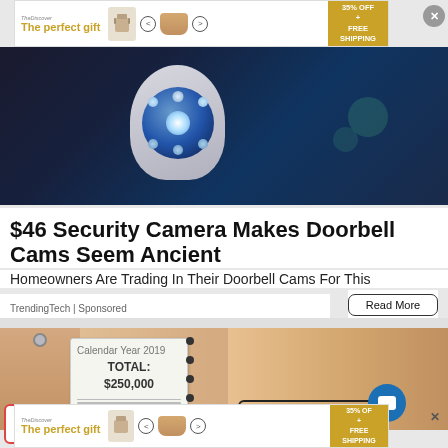[Figure (screenshot): Advertisement banner: 'The perfect gift' with food pot images, navigation arrows, and '35% OFF + FREE SHIPPING' gold badge]
[Figure (photo): Close-up of a security camera with blue LED ring lights on dark background]
$46 Security Camera Makes Doorbell Cams Seem Ancient
Homeowners Are Trading In Their Doorbell Cams For This
TrendingTech | Sponsored
Read More
[Figure (photo): Person holding a check/document showing TOTAL: $250,000 with woman's face visible in background wearing glasses]
[Figure (screenshot): Bottom advertisement banner: 'The perfect gift' with food pot images, navigation arrows, and '35% OFF + FREE SHIPPING' gold badge]